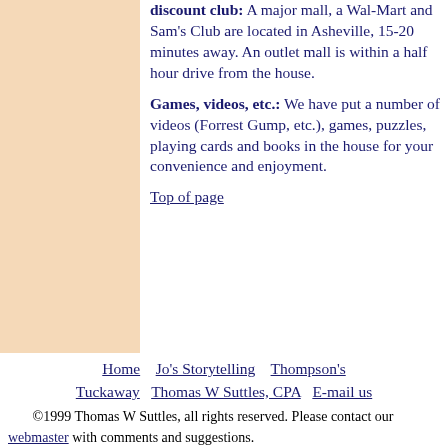discount club: A major mall, a Wal-Mart and Sam's Club are located in Asheville, 15-20 minutes away. An outlet mall is within a half hour drive from the house.
Games, videos, etc.: We have put a number of videos (Forrest Gump, etc.), games, puzzles, playing cards and books in the house for your convenience and enjoyment.
Top of page
Home   Jo's Storytelling   Thompson's Tuckaway   Thomas W Suttles, CPA   E-mail us
©1999 Thomas W Suttles, all rights reserved. Please contact our webmaster with comments and suggestions.